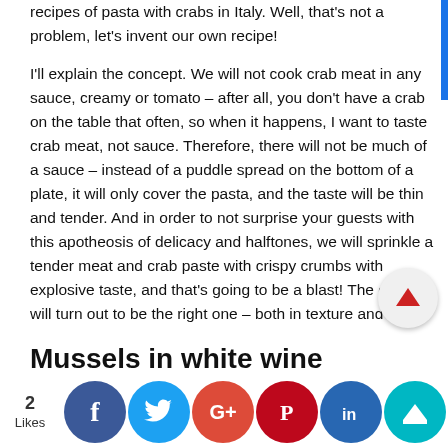recipes of pasta with crabs in Italy. Well, that's not a problem, let's invent our own recipe!

I'll explain the concept. We will not cook crab meat in any sauce, creamy or tomato – after all, you don't have a crab on the table that often, so when it happens, I want to taste crab meat, not sauce. Therefore, there will not be much of a sauce – instead of a puddle spread on the bottom of a plate, it will only cover the pasta, and the taste will be thin and tender. And in order to not surprise your guests with this apotheosis of delicacy and halftones, we will sprinkle a tender meat and crab paste with crispy crumbs with explosive taste, and that's going to be a blast! The contrast will turn out to be the right one – both in texture and taste.
Mussels in white wine
[Figure (infographic): Social sharing bar with like count (2 Likes), Facebook, Twitter, Google+, Pinterest, LinkedIn, and Crown icons, plus a scroll-up arrow button]